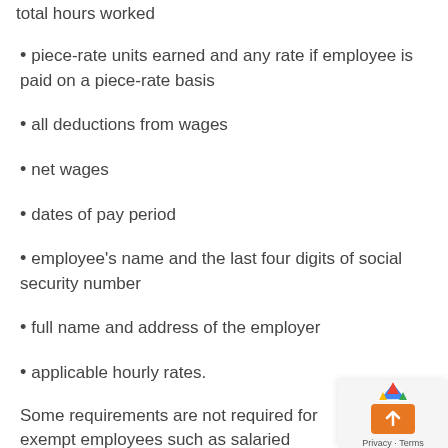total hours worked
piece-rate units earned and any rate if employee is paid on a piece-rate basis
all deductions from wages
net wages
dates of pay period
employee's name and the last four digits of social security number
full name and address of the employer
applicable hourly rates.
Some requirements are not required for exempt employees such as salaried